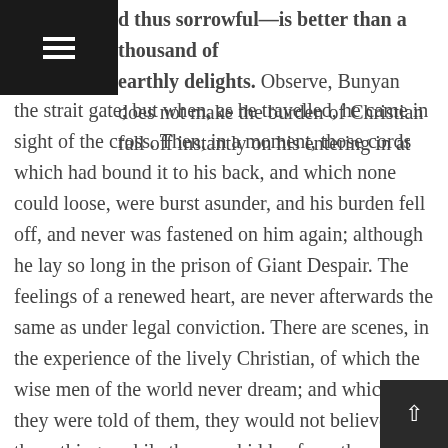d thus sorrowful—is better than a thousand of earthly delights. Observe, Bunyan does not make the burden of Christian fall off instantly on his entering in at the strait gate; but when, as he travelled, he came in sight of the cross. Then, in a moment, those cords which had bound it to his back, and which none could loose, were burst asunder, and his burden fell off, and never was fastened on him again; although he lay so long in the prison of Giant Despair. The feelings of a renewed heart, are never afterwards the same as under legal conviction. There are scenes, in the experience of the lively Christian, of which the wise men of the world never dream; and which, if they were told of them, they would not believe; and these things, while they are hidden from the wise and prudent, are revealed unto babes. The secret of the Lord is with them that fear him. The soul, which has thus returned from its wanderings to the bishop and shepherd, feels